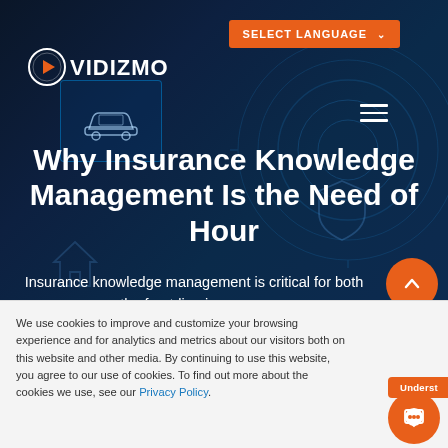SELECT LANGUAGE
[Figure (logo): VIDIZMO logo in white with orange circular play button icon]
Why Insurance Knowledge Management Is the Need of Hour
Insurance knowledge management is critical for both the front-line insurance
We use cookies to improve and customize your browsing experience and for analytics and metrics about our visitors both on this website and other media. By continuing to use this website, you agree to our use of cookies. To find out more about the cookies we use, see our Privacy Policy.